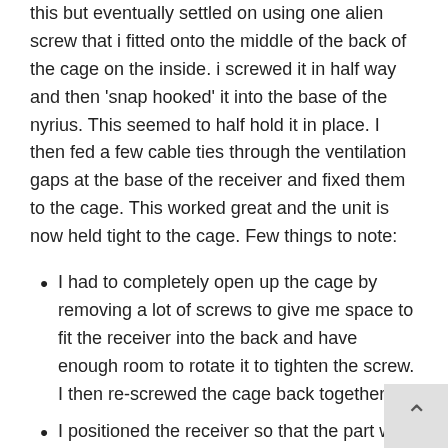this but eventually settled on using one alien screw that i fitted onto the middle of the back of the cage on the inside. i screwed it in half way and then 'snap hooked' it into the base of the nyrius. This seemed to half hold it in place. I then fed a few cable ties through the ventilation gaps at the base of the receiver and fixed them to the cage. This worked great and the unit is now held tight to the cage. Few things to note:
I had to completely open up the cage by removing a lot of screws to give me space to fit the receiver into the back and have enough room to rotate it to tighten the screw. I then re-screwed the cage back together.
I positioned the receiver so that the part w...